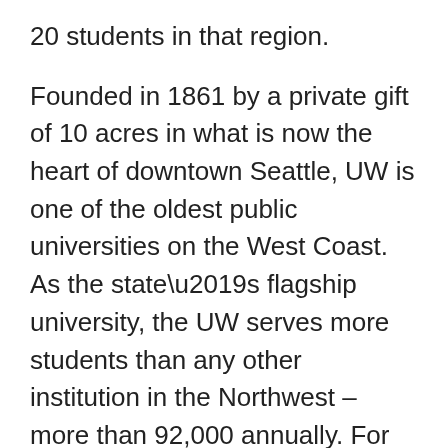20 students in that region.
Founded in 1861 by a private gift of 10 acres in what is now the heart of downtown Seattle, UW is one of the oldest public universities on the West Coast. As the state’s flagship university, the UW serves more students than any other institution in the Northwest – more than 92,000 annually. For more information, visit www.washington.edu.
Jacksonville-based Crowley Holdings Inc., a holding company of the 121-year-old Crowley Maritime Corporation, is a privately held